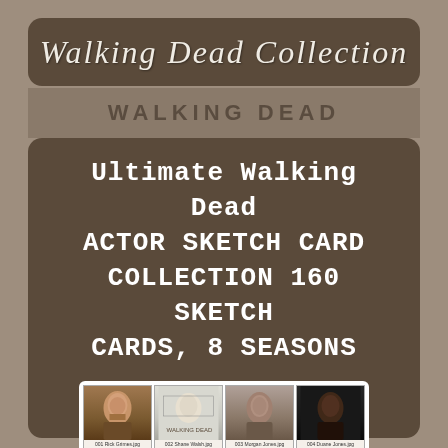Walking Dead Collection
Ultimate Walking Dead ACTOR SKETCH CARD COLLECTION 160 SKETCH CARDS, 8 SEASONS
[Figure (photo): Grid of Walking Dead actor sketch cards showing 12 cards with character portraits, each labeled with filenames like 001 Rick Grimes.jpg, 002 Shane Walsh.jpg, 003 Morgan Jones.jpg, 004 Duane Jones.jpg, 005 Jenny Jones.jpg, 006 Amy Harrison.jpg, 007 Lori Grimes.jpg, 008 Carl Grimes.jpg, and three more partial cards in the bottom row.]